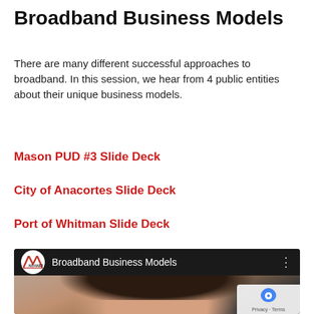Broadband Business Models
There are many different successful approaches to broadband. In this session, we hear from 4 public entities about their unique business models.
Mason PUD #3 Slide Deck
City of Anacortes Slide Deck
Port of Whitman Slide Deck
[Figure (screenshot): YouTube video thumbnail showing NOANET logo and title 'Broadband Business Models' with a person's head visible in the video frame. A reCAPTCHA privacy badge is in the bottom right corner.]